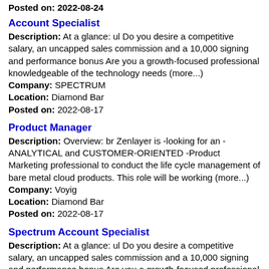Posted on: 2022-08-24
Account Specialist
Description: At a glance: ul Do you desire a competitive salary, an uncapped sales commission and a 10,000 signing and performance bonus Are you a growth-focused professional knowledgeable of the technology needs (more...) Company: SPECTRUM Location: Diamond Bar Posted on: 2022-08-17
Product Manager
Description: Overview: br Zenlayer is -looking for an -ANALYTICAL and CUSTOMER-ORIENTED -Product Marketing professional to conduct the life cycle management of bare metal cloud products. This role will be working (more...) Company: Voyig Location: Diamond Bar Posted on: 2022-08-17
Spectrum Account Specialist
Description: At a glance: ul Do you desire a competitive salary, an uncapped sales commission and a 10,000 signing and performance bonus Are you a growth-focused professional knowledgeable of the technology needs (more...) Company: SPECTRUM Location: Diamond Bar Posted on: 2022-08-17